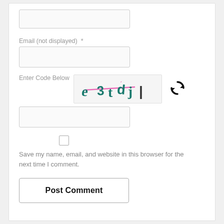[Figure (screenshot): A text input field (empty) at the top of a comment form]
Email (not displayed)  *
[Figure (screenshot): A text input field for email (empty)]
Enter Code Below
[Figure (other): CAPTCHA image showing distorted text 'e3tdj|' with pink and teal colors, with a refresh/reload icon to the right]
[Figure (screenshot): A text input field for entering the CAPTCHA code (empty)]
[Figure (screenshot): A checkbox (unchecked)]
Save my name, email, and website in this browser for the next time I comment.
[Figure (screenshot): Post Comment button]